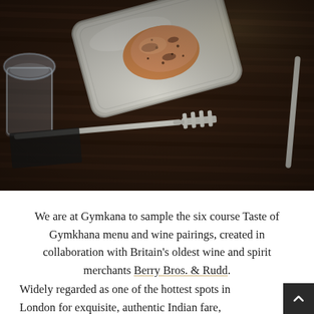[Figure (photo): Overhead view of a dark wood restaurant table with a silver metal tray holding a piece of grilled/spiced chicken, a glass of water on the left, and a silver fork resting on the table. The scene is from a fine dining Indian restaurant.]
We are at Gymkana to sample the six course Taste of Gymkhana menu and wine pairings, created in collaboration with Britain's oldest wine and spirit merchants Berry Bros. & Rudd.
Widely regarded as one of the hottest spots in London for exquisite, authentic Indian fare, Michelin-starred Gymkhana has long been a destination dining spot for Indi...